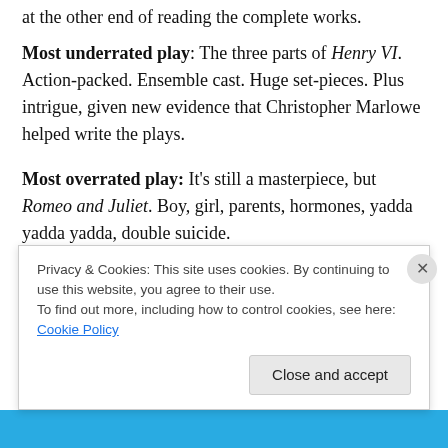at the other end of reading the complete works.
Most underrated play: The three parts of Henry VI. Action-packed. Ensemble cast. Huge set-pieces. Plus intrigue, given new evidence that Christopher Marlowe helped write the plays.
Most overrated play: It's still a masterpiece, but Romeo and Juliet. Boy, girl, parents, hormones, yadda yadda yadda, double suicide.
Favorite character: This is a tough one. Portia's intelligence and selflessness amaze me in The Merchant
Privacy & Cookies: This site uses cookies. By continuing to use this website, you agree to their use.
To find out more, including how to control cookies, see here: Cookie Policy
Close and accept